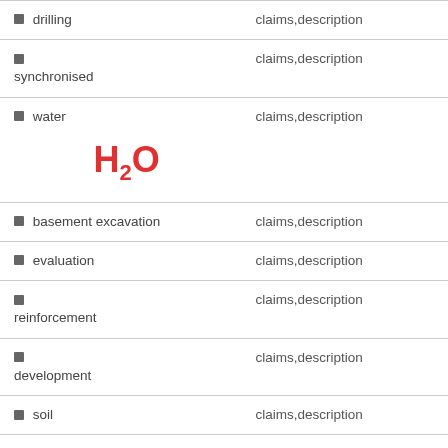| Term | Location |
| --- | --- |
| drilling | claims,description |
| synchronised | claims,description |
| water
H2O | claims,description |
| basement excavation | claims,description |
| evaluation | claims,description |
| reinforcement | claims,description |
| development | claims,description |
| soil | claims,description |
| Tears | claims,description |